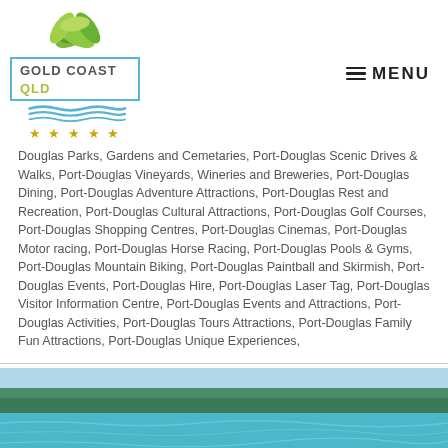[Figure (logo): Gold Coast QLD logo with green leaves, blue waves, and a bordered text box]
MENU
Douglas Parks, Gardens and Cemetaries, Port-Douglas Scenic Drives & Walks, Port-Douglas Vineyards, Wineries and Breweries, Port-Douglas Dining, Port-Douglas Adventure Attractions, Port-Douglas Rest and Recreation, Port-Douglas Cultural Attractions, Port-Douglas Golf Courses, Port-Douglas Shopping Centres, Port-Douglas Cinemas, Port-Douglas Motor racing, Port-Douglas Horse Racing, Port-Douglas Pools & Gyms, Port-Douglas Mountain Biking, Port-Douglas Paintball and Skirmish, Port-Douglas Events, Port-Douglas Hire, Port-Douglas Laser Tag, Port-Douglas Visitor Information Centre, Port-Douglas Events and Attractions, Port-Douglas Activities, Port-Douglas Tours Attractions, Port-Douglas Family Fun Attractions, Port-Douglas Unique Experiences,
[Figure (photo): Beach scene with turquoise water, white sand, and trees in the background]